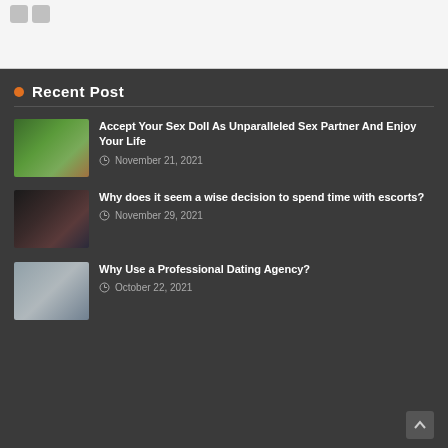Recent Post
Accept Your Sex Doll As Unparalleled Sex Partner And Enjoy Your Life
November 21, 2021
Why does it seem a wise decision to spend time with escorts?
November 29, 2021
Why Use a Professional Dating Agency?
October 22, 2021